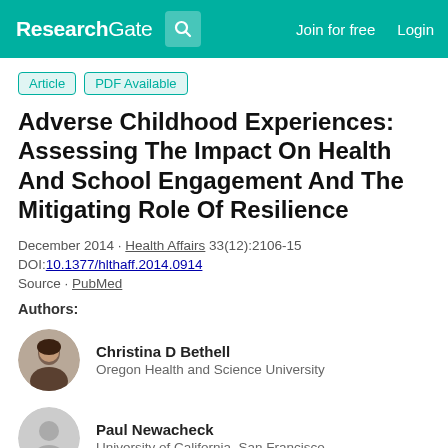ResearchGate  Join for free  Login
Article  PDF Available
Adverse Childhood Experiences: Assessing The Impact On Health And School Engagement And The Mitigating Role Of Resilience
December 2014 · Health Affairs 33(12):2106-15
DOI:10.1377/hlthaff.2014.0914
Source · PubMed
Authors:
Christina D Bethell
Oregon Health and Science University
Paul Newacheck
University of California, San Francisco